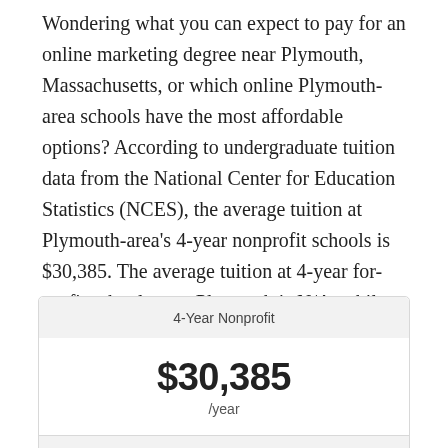Wondering what you can expect to pay for an online marketing degree near Plymouth, Massachusetts, or which online Plymouth-area schools have the most affordable options? According to undergraduate tuition data from the National Center for Education Statistics (NCES), the average tuition at Plymouth-area's 4-year nonprofit schools is $30,385. The average tuition at 4-year for-profit schools near Plymouth is N/A, while tuition at 2-year online colleges and universities is $4,992.
| Category | Tuition |
| --- | --- |
| 4-Year Nonprofit | $30,385/year |
| 4-Year For-Profit |  |